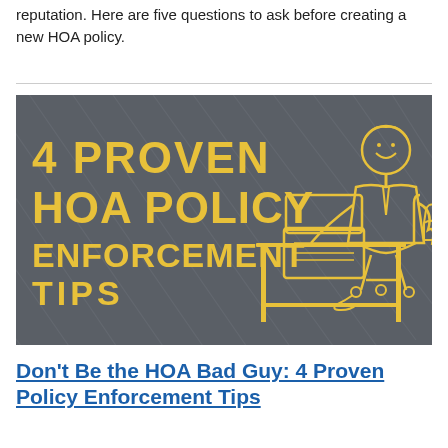reputation. Here are five questions to ask before creating a new HOA policy.
[Figure (illustration): Illustrated infographic with dark grey background and yellow line art showing a businessman sitting at a desk with a laptop giving a thumbs up. Text reads '4 PROVEN HOA POLICY ENFORCEMENT TIPS' in yellow font.]
Don't Be the HOA Bad Guy: 4 Proven Policy Enforcement Tips